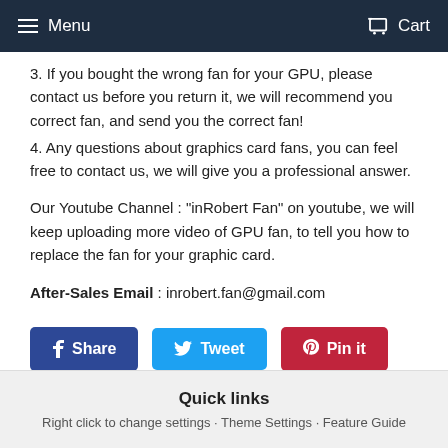Menu  Cart
3. If you bought the wrong fan for your GPU, please contact us before you return it, we will recommend you correct fan, and send you the correct fan!
4. Any questions about graphics card fans, you can feel free to contact us, we will give you a professional answer.
Our Youtube Channel : "inRobert Fan" on youtube, we will keep uploading more video of GPU fan, to tell you how to replace the fan for your graphic card.
After-Sales Email : inrobert.fan@gmail.com
[Figure (other): Social share buttons: Share (Facebook, blue), Tweet (Twitter, cyan), Pin it (Pinterest, red)]
Quick links
Right click to change settings · Theme Settings · Feature Guide